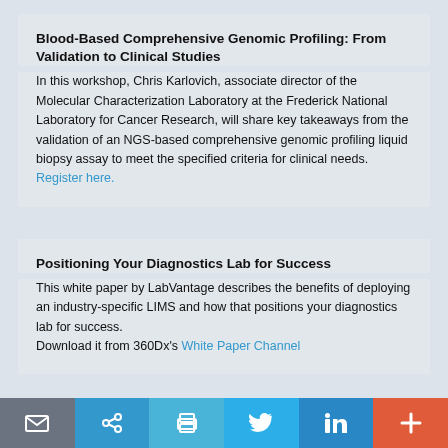Blood-Based Comprehensive Genomic Profiling: From Validation to Clinical Studies
In this workshop, Chris Karlovich, associate director of the Molecular Characterization Laboratory at the Frederick National Laboratory for Cancer Research, will share key takeaways from the validation of an NGS-based comprehensive genomic profiling liquid biopsy assay to meet the specified criteria for clinical needs. Register here.
Positioning Your Diagnostics Lab for Success
This white paper by LabVantage describes the benefits of deploying an industry-specific LIMS and how that positions your diagnostics lab for success. Download it from 360Dx's White Paper Channel